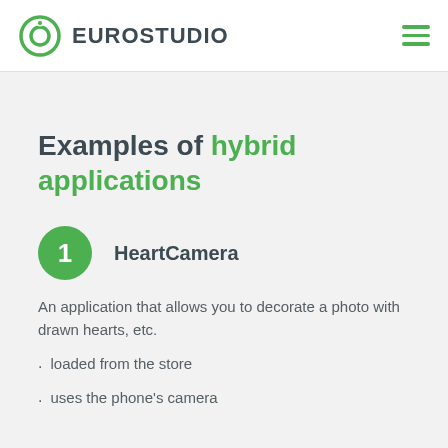EUROSTUDIO
Examples of hybrid applications
1  HeartCamera
An application that allows you to decorate a photo with drawn hearts, etc.
loaded from the store
uses the phone's camera